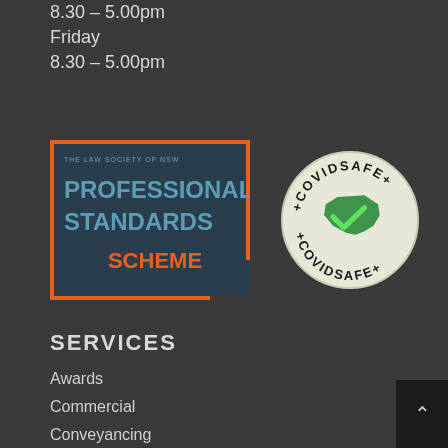8.30 – 5.00pm
Friday
8.30 – 5.00pm
[Figure (logo): The Law Society of NSW Professional Standards Scheme logo — dark teal background with orange border bracket, text 'THE LAW SOCIETY OF NSW' in small teal, 'PROFESSIONAL STANDARDS' in large teal bold, 'SCHEME' in large orange bold]
[Figure (logo): COVIDSafe circular logo — light cream/yellow background with dark text 'COVIDSAFE' arcing top and bottom with + symbols, green Australia map silhouette with green checkmark in center]
SERVICES
Awards
Commercial
Conveyancing
Criminal and Traffic